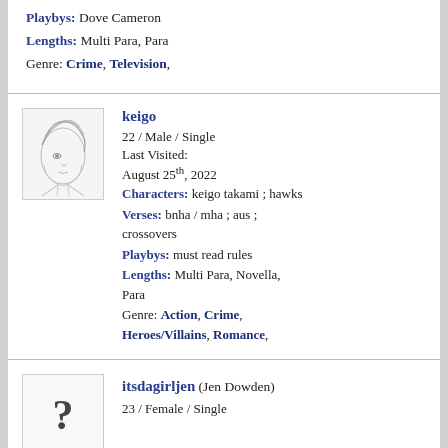Playbys: Dove Cameron
Lengths: Multi Para, Para
Genre: Crime, Television,
keigo
22 / Male / Single
Last Visited:
August 25th, 2022
Characters: keigo takami ; hawks
Verses: bnha / mha ; aus ; crossovers
Playbys: must read rules
Lengths: Multi Para, Novella, Para
Genre: Action, Crime, Heroes/Villains, Romance,
itsdagirljen (Jen Dowden)
23 / Female / Single